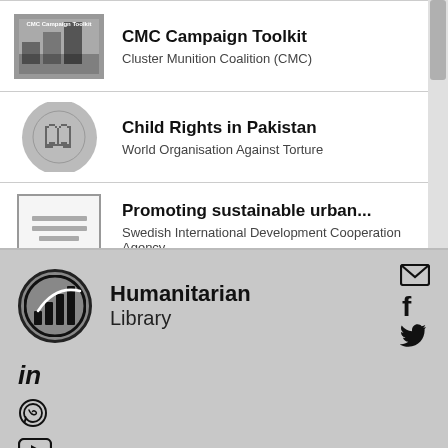CMC Campaign Toolkit
Cluster Munition Coalition (CMC)
Child Rights in Pakistan
World Organisation Against Torture
Promoting sustainable urban...
Swedish International Development Cooperation Agency
[Figure (logo): Humanitarian Library logo: circular badge with bar chart icon]
Humanitarian
Library
[Figure (infographic): Social media icons: email envelope, Facebook f, Twitter bird, LinkedIn in, WhatsApp, YouTube]
Privacy Policy | Terms & Conditions
List events | List channels | List collections | How to | About us